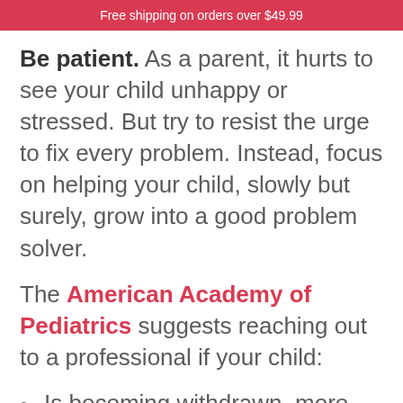Free shipping on orders over $49.99
Be patient. As a parent, it hurts to see your child unhappy or stressed. But try to resist the urge to fix every problem. Instead, focus on helping your child, slowly but surely, grow into a good problem solver.
The American Academy of Pediatrics suggests reaching out to a professional if your child:
Is becoming withdrawn, more unhappy or depressed